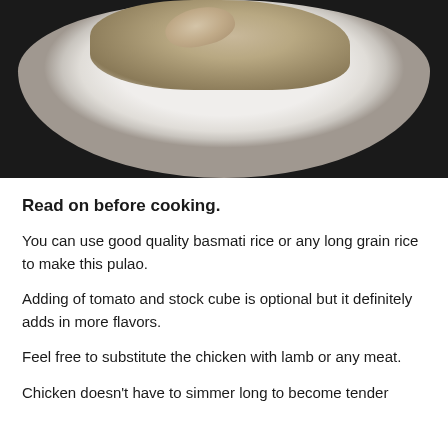[Figure (photo): A white plate with chicken pulao (rice mixed with chicken pieces and vegetables) on a dark background, viewed from above at an angle showing the top portion of the plate.]
Read on before cooking.
You can use good quality basmati rice or any long grain rice to make this pulao.
Adding of tomato and stock cube is optional but it definitely adds in more flavors.
Feel free to substitute the chicken with lamb or any meat.
Chicken doesn't have to simmer long to become tender